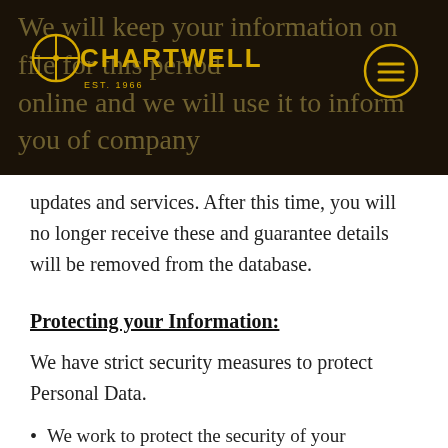Chartwell EST. 1966 — navigation header
We will keep your information on file for this period online and we will use it to inform you of company updates and services. After this time, you will no longer receive these and guarantee details will be removed from the database.
Protecting your Information:
We have strict security measures to protect Personal Data.
We work to protect the security of your information